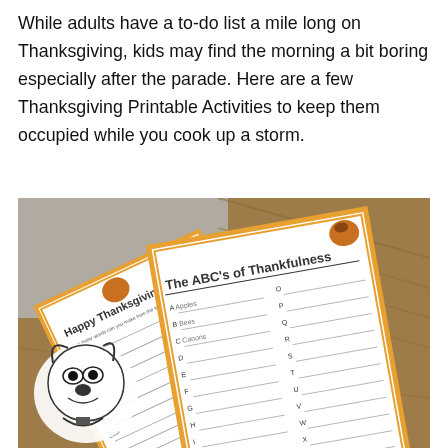While adults have a to-do list a mile long on Thanksgiving, kids may find the morning a bit boring especially after the parade. Here are a few Thanksgiving Printable Activities to keep them occupied while you cook up a storm.
[Figure (photo): Photo of Thanksgiving printable activity sheets laid on a wooden table — one shows 'Happy Thanksgiving' with a cartoon character, another shows 'The ABC's of Thankfulness' worksheet with letters A through Z and fill-in lines, decorated with an orange border and a turkey graphic.]